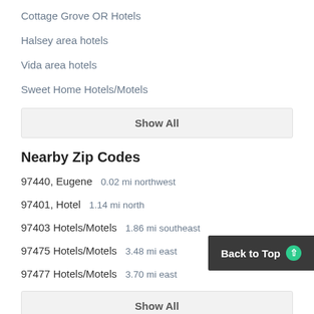Cottage Grove OR Hotels
Halsey area hotels
Vida area hotels
Sweet Home Hotels/Motels
Show All
Nearby Zip Codes
97440, Eugene  0.02 mi northwest
97401, Hotel  1.14 mi north
97403 Hotels/Motels  1.86 mi southeast
97475 Hotels/Motels  3.48 mi east
97477 Hotels/Motels  3.70 mi east
Show All
Back to Top
More Hotel Chains